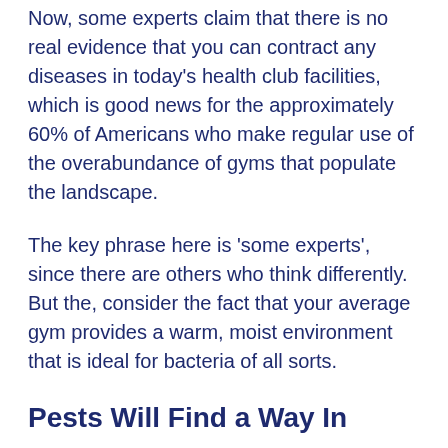Now, some experts claim that there is no real evidence that you can contract any diseases in today’s health club facilities, which is good news for the approximately 60% of Americans who make regular use of the overabundance of gyms that populate the landscape.
The key phrase here is ‘some experts’, since there are others who think differently. But the, consider the fact that your average gym provides a warm, moist environment that is ideal for bacteria of all sorts.
Pests Will Find a Way In
But there are other larger creatures...